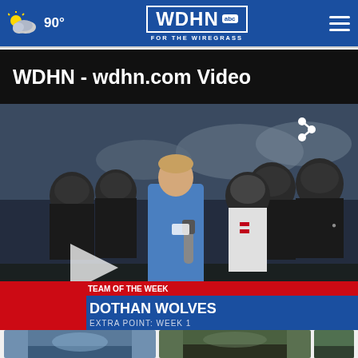WDHN abc FOR THE WIREGRASS | 90°
WDHN - wdhn.com Video
[Figure (screenshot): Video thumbnail showing a TV reporter in a blue polo shirt holding a microphone, standing in front of a football team in dark helmets. Lower third graphic reads: TEAM OF THE WEEK / DOTHAN WOLVES / EXTRA POINT: WEEK 1. A play button is visible on the left side. A share icon appears in the upper right corner of the video.]
[Figure (screenshot): Row of three smaller video thumbnails at the bottom of the page, partially visible.]